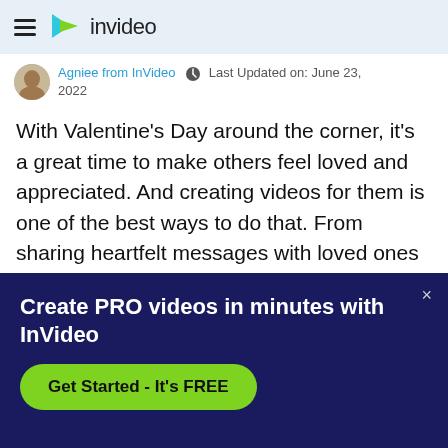≡ invideo
Agniee from InVideo · Last Updated on: June 23, 2022
With Valentine's Day around the corner, it's a great time to make others feel loved and appreciated. And creating videos for them is one of the best ways to do that. From sharing heartfelt messages with loved ones to creating cute posts that make your customers swoon, we have put together 10 heartwarming Valentine's Day
Create PRO videos in minutes with InVideo
Get Started - It's FREE